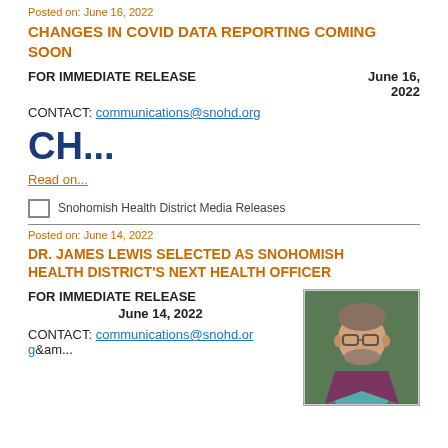Posted on: June 16, 2022
CHANGES IN COVID DATA REPORTING COMING SOON
FOR IMMEDIATE RELEASE   June 16, 2022
CONTACT: communications@snohd.org
CH...
Read on...
Snohomish Health District Media Releases
Posted on: June 14, 2022
DR. JAMES LEWIS SELECTED AS SNOHOMISH HEALTH DISTRICT'S NEXT HEALTH OFFICER
FOR IMMEDIATE RELEASE
June 14, 2022
[Figure (photo): Portrait photo of Dr. James Lewis, a man with glasses, beard, wearing a purple/maroon jacket]
CONTACT: communications@snohd.org&am...